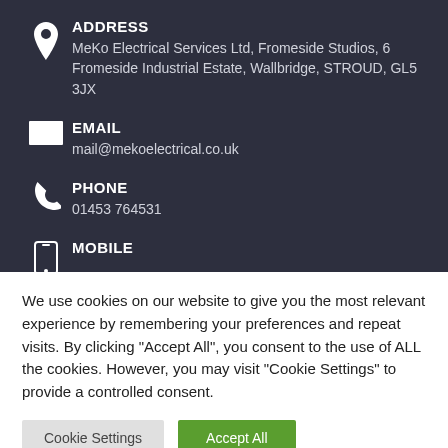ADDRESS
MeKo Electrical Services Ltd, Fromeside Studios, 6 Fromeside Industrial Estate, Wallbridge, STROUD, GL5 3JX
EMAIL
mail@mekoelectrical.co.uk
PHONE
01453 764531
MOBILE
We use cookies on our website to give you the most relevant experience by remembering your preferences and repeat visits. By clicking "Accept All", you consent to the use of ALL the cookies. However, you may visit "Cookie Settings" to provide a controlled consent.
Cookie Settings | Accept All